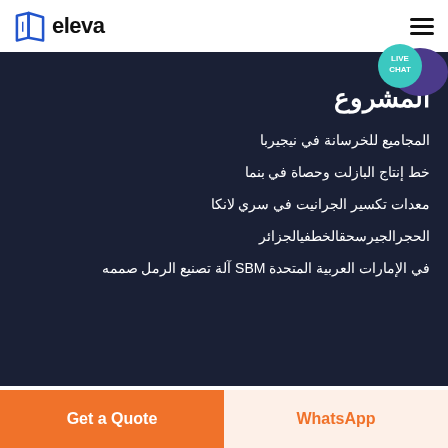[Figure (logo): Eleva brand logo with book icon and text 'eleva']
المشروع
المجاميع للخرسانة في نيجيربا
خط إنتاج البازلت وحصاة في بنما
معدات تكسير الجرانيت في سري لانكا
الحجرالجيرسحقالخطفيالجزائر
في الإمارات العربية المتحدة SBM آلة تصنيع الرمل صممه